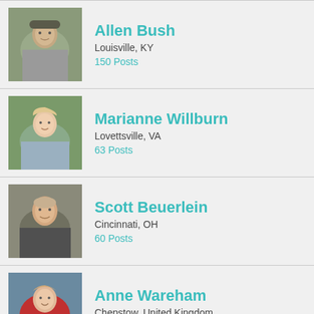Allen Bush
Louisville, KY
150 Posts
Marianne Willburn
Lovettsville, VA
63 Posts
Scott Beuerlein
Cincinnati, OH
60 Posts
Anne Wareham
Chepstow, United Kingdom
36 Posts
[Figure (illustration): Teal/green hand-shaped garden tool (cultivator/fork) with yellow handle on grey background]
RECENT RANTS